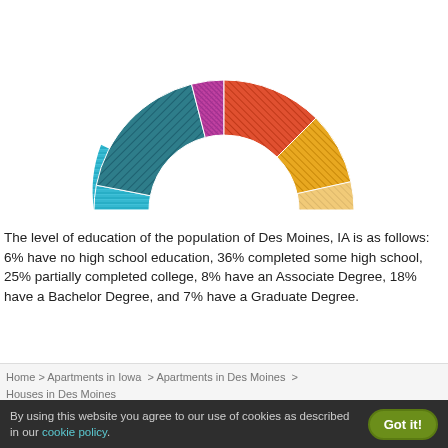[Figure (donut-chart): Education level in Des Moines, IA]
The level of education of the population of Des Moines, IA is as follows: 6% have no high school education, 36% completed some high school, 25% partially completed college, 8% have an Associate Degree, 18% have a Bachelor Degree, and 7% have a Graduate Degree.
Home > Apartments in Iowa > Apartments in Des Moines > Houses in Des Moines
By using this website you agree to our use of cookies as described in our cookie policy.